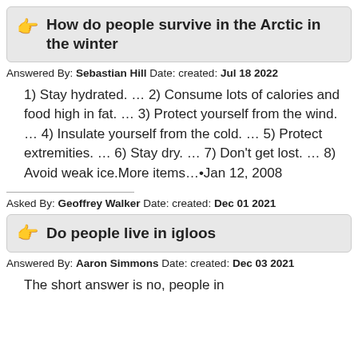How do people survive in the Arctic in the winter
Answered By: Sebastian Hill Date: created: Jul 18 2022
1) Stay hydrated. … 2) Consume lots of calories and food high in fat. … 3) Protect yourself from the wind. … 4) Insulate yourself from the cold. … 5) Protect extremities. … 6) Stay dry. … 7) Don't get lost. … 8) Avoid weak ice.More items…•Jan 12, 2008
Asked By: Geoffrey Walker Date: created: Dec 01 2021
Do people live in igloos
Answered By: Aaron Simmons Date: created: Dec 03 2021
The short answer is no, people in